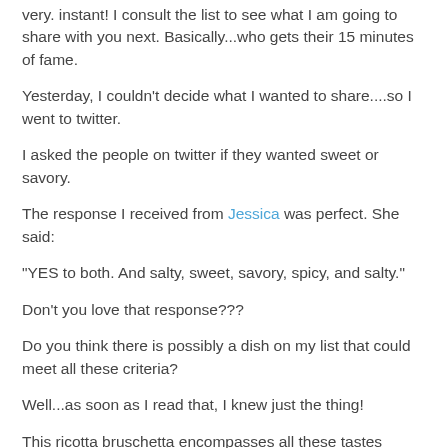very. instant! I consult the list to see what I am going to share with you next. Basically...who gets their 15 minutes of fame.
Yesterday, I couldn't decide what I wanted to share....so I went to twitter.
I asked the people on twitter if they wanted sweet or savory.
The response I received from Jessica was perfect. She said:
"YES to both. And salty, sweet, savory, spicy, and salty."
Don't you love that response???
Do you think there is possibly a dish on my list that could meet all these criteria?
Well...as soon as I read that, I knew just the thing!
This ricotta bruschetta encompasses all these tastes (though maybe not the spicy, but I'll bet you can get creative and fix that!).